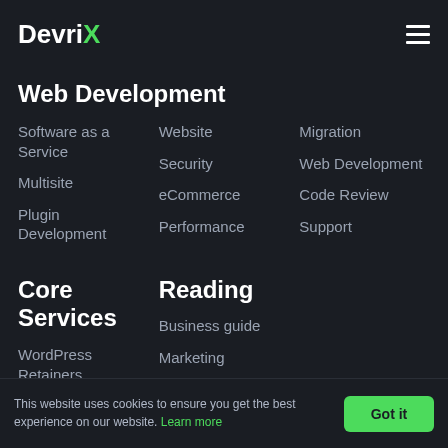DevriX
Web Development
Software as a Service
Website
Migration
Multisite
Security
Web Development
Plugin Development
eCommerce
Code Review
Performance
Support
Core Services
Reading
WordPress Retainers
Business guide
Marketing
This website uses cookies to ensure you get the best experience on our website. Learn more